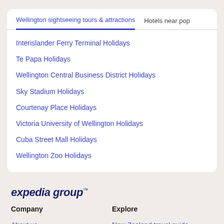Wellington sightseeing tours & attractions (tab active)
Hotels near pop (tab inactive)
Interislander Ferry Terminal Holidays
Te Papa Holidays
Wellington Central Business District Holidays
Sky Stadium Holidays
Courtenay Place Holidays
Victoria University of Wellington Holidays
Cuba Street Mall Holidays
Wellington Zoo Holidays
expedia group™
Company
Explore
About us
New Zealand travel guide
Jobs
Hotels in New Zealand